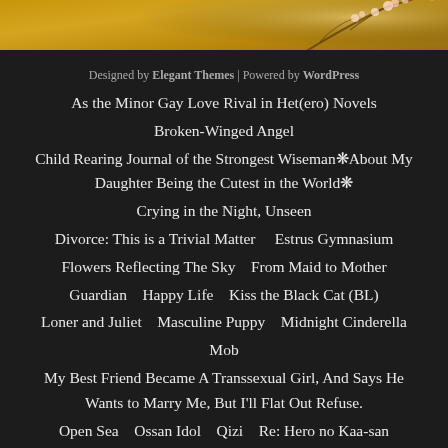[Figure (illustration): Golden/amber colored decorative banner with floral branch motif (cherry blossoms) against a warm gold background]
Designed by Elegant Themes | Powered by WordPress
As the Minor Gay Love Rival in Het(ero) Novels
Broken-Winged Angel
Child Rearing Journal of the Strongest Wiseman❋About My Daughter Being the Cutest in the World❋
Crying in the Night, Unseen
Divorce: This is a Trivial Matter
Estrus Gymnasium
Flowers Reflecting The Sky
From Maid to Mother
Guardian
Happy Life
Kiss the Black Cat (BL)
Loner and Juliet
Masculine Puppy
Midnight Cinderella
Mob
My Best Friend Became A Transsexual Girl, And Says He Wants to Marry Me, But I'll Flat Out Refuse.
Open Sea
Ossan Idol
Qizi
Re: Hero no Kaa-san
Silent Reading
Stop Bothering Me, Emperor
The Hero's Cute Childhood Friend, Doesn't Know of His Pitch-Black Nature
The Viet Actor Murder   The Noble Girl Living in Debt